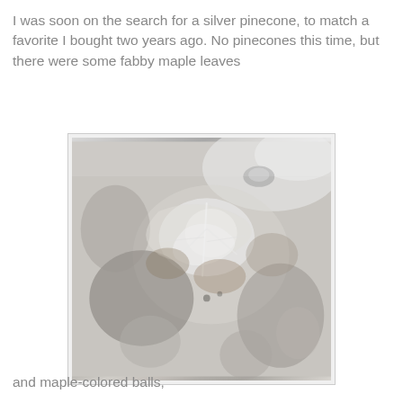I was soon on the search for a silver pinecone, to match a favorite I bought two years ago. No pinecones this time, but there were some fabby maple leaves
[Figure (photo): Close-up photograph of shiny silver metallic maple leaf decorations, highly reflective with a crinkled metallic surface showing brown undertones]
and maple-colored balls,